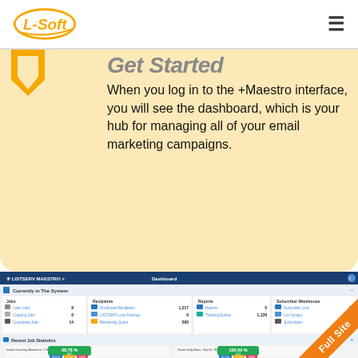L-Soft logo | navigation menu
Get Started
When you log in to the +Maestro interface, you will see the dashboard, which is your hub for managing all of your email marketing campaigns.
[Figure (screenshot): LISTSERV Maestro dashboard screenshot showing Currently in The System stats (Jobs: Open Jobs 9, Ongoing Jobs 0, Completed Jobs 14; Recipients: Distributed Recipients 1,217, LISTSERV Lists Postings 0, Remaining Quota 500; Reports: Reports 5, Tracking Events 1,128; Subscriber Warehouse: Subscriber Lists 17, List Groups 3, Subscribers 1,961) and Recent Job Statistics showing two campaigns with 98.78% (647) and 100.00% (114) delivery rates with Opened/Clicked/Unsubscribed breakdowns.]